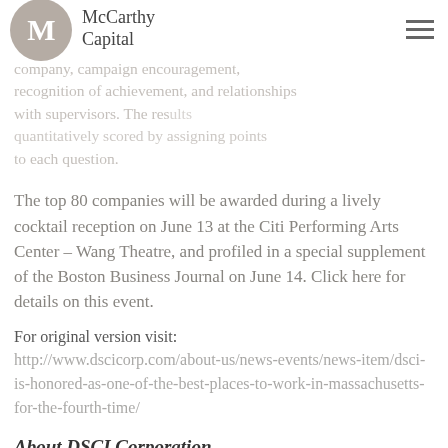McCarthy Capital
company, campaign encouragement, recognition of achievement, and relationships with supervisors. The results were quantitatively scored by assigning points to each question.
The top 80 companies will be awarded during a lively cocktail reception on June 13 at the Citi Performing Arts Center – Wang Theatre, and profiled in a special supplement of the Boston Business Journal on June 14. Click here for details on this event.
For original version visit:
http://www.dscicorp.com/about-us/news-events/news-item/dsci-is-honored-as-one-of-the-best-places-to-work-in-massachusetts-for-the-fourth-time/
About DSCI Corporation